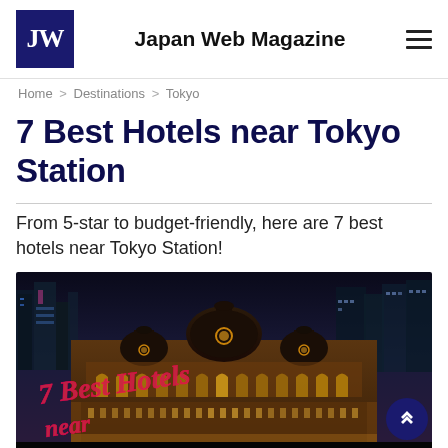Japan Web Magazine
Home > Destinations > Tokyo
7 Best Hotels near Tokyo Station
From 5-star to budget-friendly, here are 7 best hotels near Tokyo Station!
[Figure (photo): Night photo of Tokyo Station building, illuminated, with city skyline in background. Text overlay reads '7 Best Hotels near...' in stylized script.]